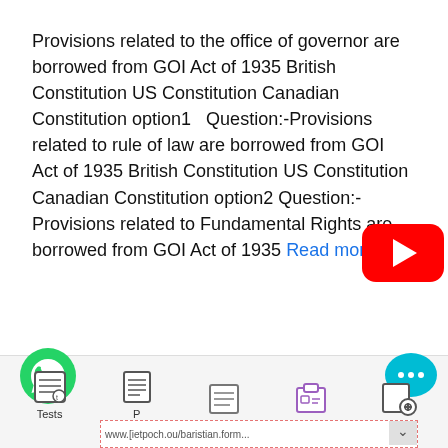Provisions related to the office of governor are borrowed from GOI Act of 1935 British Constitution US Constitution Canadian Constitution option1   Question:-Provisions related to rule of law are borrowed from GOI Act of 1935 British Constitution US Constitution Canadian Constitution option2 Question:-Provisions related to Fundamental Rights are borrowed from GOI Act of 1935 Read more
[Figure (logo): YouTube play button red logo]
[Figure (illustration): WhatsApp green phone icon]
[Figure (illustration): Chat bubble icon with ellipsis]
Tests P ... www.[ietpoch.ou/baristian.form...